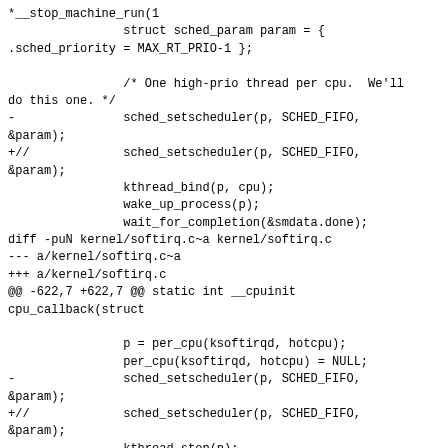*__stop_machine_run(1
                struct sched_param param = {
.sched_priority = MAX_RT_PRIO-1 };

                /* One high-prio thread per cpu.  We'll
do this one. */
-               sched_setscheduler(p, SCHED_FIFO,
&param);
+//             sched_setscheduler(p, SCHED_FIFO,
&param);
                kthread_bind(p, cpu);
                wake_up_process(p);
                wait_for_completion(&smdata.done);
diff -puN kernel/softirq.c~a kernel/softirq.c
--- a/kernel/softirq.c~a
+++ a/kernel/softirq.c
@@ -622,7 +622,7 @@ static int __cpuinit
cpu_callback(struct

                p = per_cpu(ksoftirqd, hotcpu);
                per_cpu(ksoftirqd, hotcpu) = NULL;
-               sched_setscheduler(p, SCHED_FIFO,
&param);
+//             sched_setscheduler(p, SCHED_FIFO,
&param);
                kthread_stop(p);
                takeover_tasklets(hotcpu);
                break;

-